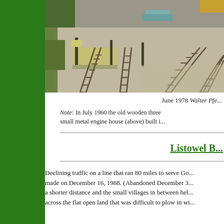[Figure (photo): Aerial/elevated view of railway yard with multiple tracks converging and curving, a loading platform visible, and a car on a road in the background, taken June 1978.]
June 1978 Walter Pfe...
Note: In July 1960 the old wooden three ... small metal engine house (above) built i...
Listowel B...
Declining traffic on a line that ran 80 miles to serve Go... made on December 16, 1988. (Abandoned December 3... a shorter distance and the small villages in between hel... across the flat open land that was difficult to plow in wi...